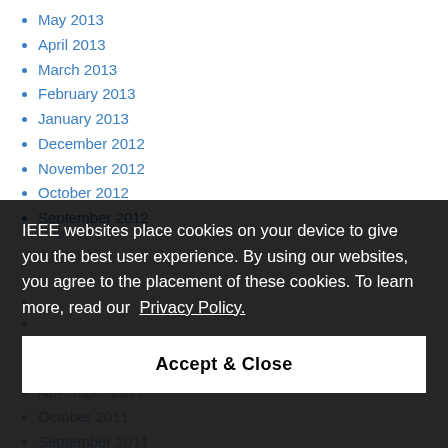May 2013
April 2013
March 2013
February 2013
January 2013
December 2012
November 2012
October 2012
September 2012
August 2012
July 2012
IEEE websites place cookies on your device to give you the best user experience. By using our websites, you agree to the placement of these cookies. To learn more, read our Privacy Policy.
December 2011
November 2011
October 2011
September 2011
August 2011